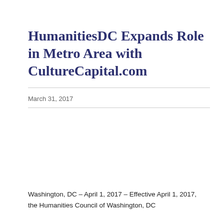HumanitiesDC Expands Role in Metro Area with CultureCapital.com
March 31, 2017
Washington, DC – April 1, 2017 – Effective April 1, 2017, the Humanities Council of Washington, DC